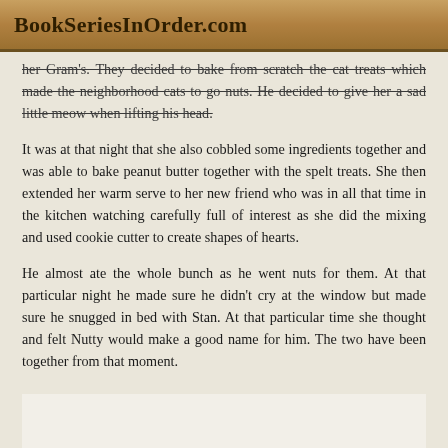BookSeriesInOrder.com
her Gram's. They decided to bake from scratch the cat treats which made the neighborhood cats to go nuts. He decided to give her a sad little meow when lifting his head.
It was at that night that she also cobbled some ingredients together and was able to bake peanut butter together with the spelt treats. She then extended her warm serve to her new friend who was in all that time in the kitchen watching carefully full of interest as she did the mixing and used cookie cutter to create shapes of hearts.
He almost ate the whole bunch as he went nuts for them. At that particular night he made sure he didn't cry at the window but made sure he snugged in bed with Stan. At that particular time she thought and felt Nutty would make a good name for him. The two have been together from that moment.
[Figure (other): Partial white/light content area visible at the bottom of the page]